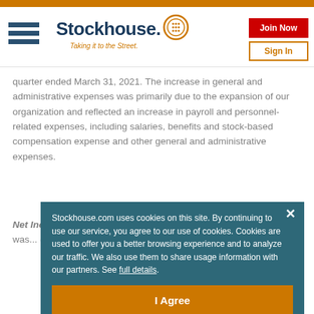[Figure (logo): Stockhouse logo with hamburger menu, wordmark 'Stockhouse.' with orange dot and coin icon, tagline 'Taking it to the Street.', Join Now and Sign In buttons]
quarter ended March 31, 2021. The increase in general and administrative expenses was primarily due to the expansion of our organization and reflected an increase in payroll and personnel-related expenses, including salaries, benefits and stock-based compensation expense and other general and administrative expenses.
Net Income (Loss): Net loss for the quarter ended March 31, 2022 was...
Stockhouse.com uses cookies on this site. By continuing to use our service, you agree to our use of cookies. Cookies are used to offer you a better browsing experience and to analyze our traffic. We also use them to share usage information with our partners. See full details.
I Agree